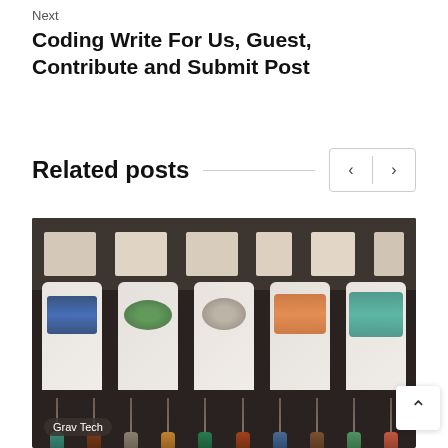Next
Coding Write For Us, Guest, Contribute and Submit Post
Related posts
[Figure (photo): Display of colorful ethnic/tribal necklaces and jewelry on bust stands in a dark-shelved market stall, with more necklaces hanging below. A 'Grav Tech' label is visible in the lower left corner.]